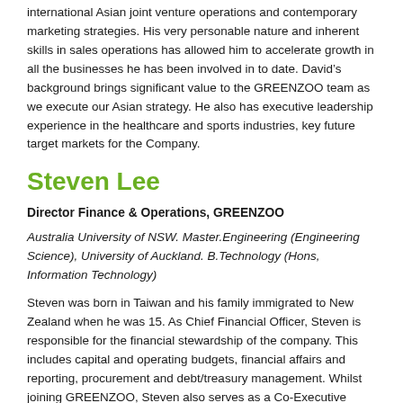international Asian joint venture operations and contemporary marketing strategies. His very personable nature and inherent skills in sales operations has allowed him to accelerate growth in all the businesses he has been involved in to date. David's background brings significant value to the GREENZOO team as we execute our Asian strategy. He also has executive leadership experience in the healthcare and sports industries, key future target markets for the Company.
Steven Lee
Director Finance & Operations, GREENZOO
Australia University of NSW. Master.Engineering (Engineering Science), University of Auckland. B.Technology (Hons, Information Technology)
Steven was born in Taiwan and his family immigrated to New Zealand when he was 15. As Chief Financial Officer, Steven is responsible for the financial stewardship of the company. This includes capital and operating budgets, financial affairs and reporting, procurement and debt/treasury management. Whilst joining GREENZOO, Steven also serves as a Co-Executive Officer of R&D Sports Pty Ltd in Australia (since 2011). In this